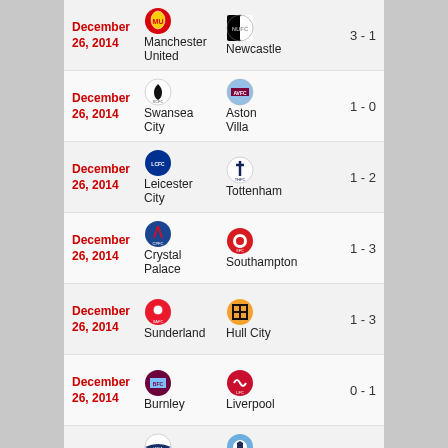| Date | Home Team | Away Team | Score |
| --- | --- | --- | --- |
| December 26, 2014 | Manchester United | Newcastle | 3 - 1 |
| December 26, 2014 | Swansea City | Aston Villa | 1 - 0 |
| December 26, 2014 | Leicester City | Tottenham | 1 - 2 |
| December 26, 2014 | Crystal Palace | Southampton | 1 - 3 |
| December 26, 2014 | Sunderland | Hull City | 1 - 3 |
| December 26, 2014 | Burnley | Liverpool | 0 - 1 |
| December 26, 2014 | West Bromwich | Manchester City | 1 - 3 |